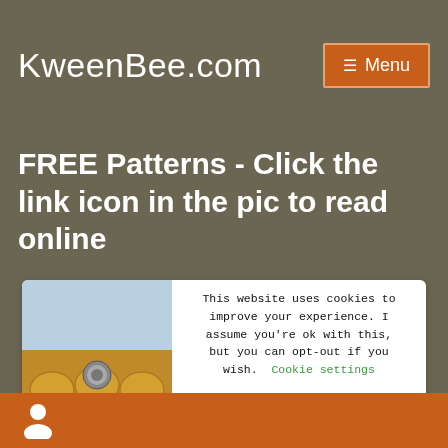KweenBee.com
FREE Patterns - Click the link icon in the pic to read online
[Figure (screenshot): Cookie consent popup overlapping a card containing a photo of a yellow tatted lace bracelet on a wrist. The popup reads: This website uses cookies to improve your experience. I assume you're ok with this, but you can opt-out if you wish. Cookie settings [ACCEPT button]]